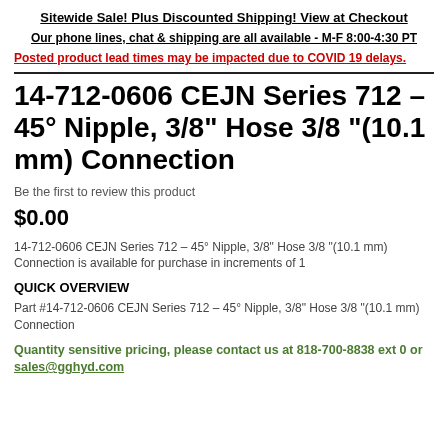Sitewide Sale! Plus Discounted Shipping! View at Checkout
Our phone lines, chat & shipping are all available - M-F 8:00-4:30 PT
Posted product lead times may be impacted due to COVID 19 delays.
14-712-0606 CEJN Series 712 – 45° Nipple, 3/8" Hose 3/8 "(10.1 mm) Connection
Be the first to review this product
$0.00
14-712-0606 CEJN Series 712 – 45° Nipple, 3/8" Hose 3/8 "(10.1 mm) Connection is available for purchase in increments of 1
QUICK OVERVIEW
Part #14-712-0606 CEJN Series 712 – 45° Nipple, 3/8" Hose 3/8 "(10.1 mm) Connection
Quantity sensitive pricing, please contact us at 818-700-8838 ext 0 or sales@gghyd.com